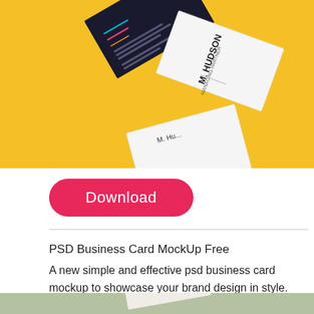[Figure (photo): Business card mockup on yellow background showing dark and white business cards with M. Hudson name, floating/tilted presentation]
Download
PSD Business Card MockUp Free
A new simple and effective psd business card mockup to showcase your brand design in style. You can easily add your own graphics thanks to the smart layer.
[Figure (photo): Business card mockup on sage green background showing white/cream cards partially visible at bottom]